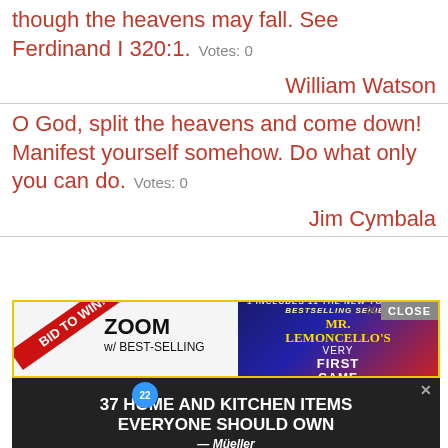though the heavens may fall. See Ferdinand I 320:1. Votes: 0
William Watson
O God, split the heavens and come down! Manifest yourself somehow. Do what only you can do. Votes: 0
Jim Cymbala
[Figure (screenshot): Advertisement showing two ads: top ad for 'Bid to Win! ZOOM w/ BEST-SELLING' with a book 'Mr. Lemoncello's Very First Game' with a CLOSE button; bottom ad showing '37 HOME AND KITCHEN ITEMS EVERYONE SHOULD OWN' with Mueller brand and a fitness roller product.]